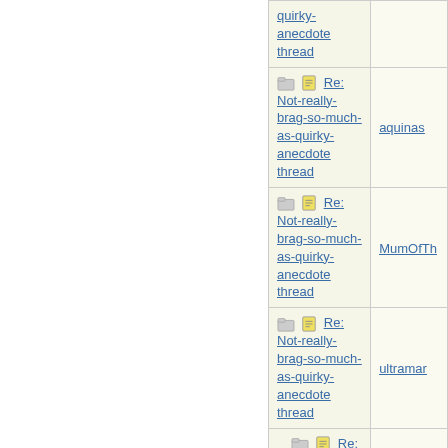| Thread | Author |
| --- | --- |
| quirky-anecdote thread |  |
| Re: Not-really-brag-so-much-as-quirky-anecdote thread | aquinas |
| Re: Not-really-brag-so-much-as-quirky-anecdote thread | MumOfTh... |
| Re: Not-really-brag-so-much-as-quirky-anecdote thread | ultramar... |
| Re: Not-really-brag-so-much-as-quirky-anecdote thread | Mana |
| Re: Not-really-brag-so-much-as-quirky-anecdote thread | aquinas |
| Re: Not-really-brag-so-much-as-quirky-anecdote thread | Elizabeth... |